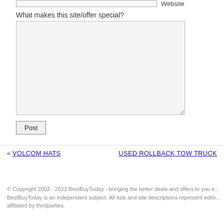Website
What makes this site/offer special?
Post
« VOLCOM HATS
USED ROLLBACK TOW TRUCK
© Copyright 2002 - 2022 BestBuyToday - bringing the better deals and offers to you e... BestBuyToday is an independent subject. All lists and site descriptions represent edito... affiliated by thirdparties.